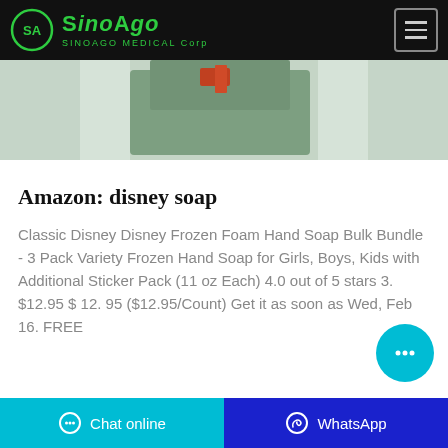SinoAgo - SINOAGO MEDICAL Corp
[Figure (photo): Partial product image showing a green industrial or medical machine with plastic wrapping, cropped at the top of the content area.]
Amazon: disney soap
Classic Disney Disney Frozen Foam Hand Soap Bulk Bundle - 3 Pack Variety Frozen Hand Soap for Girls, Boys, Kids with Additional Sticker Pack (11 oz Each) 4.0 out of 5 stars 3. $12.95 $ 12. 95 ($12.95/Count) Get it as soon as Wed, Feb 16. FREE
Chat online   WhatsApp